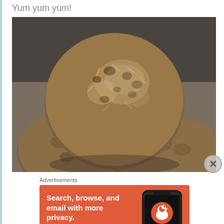Yum yum yum!
[Figure (photo): Close-up photograph of energy balls/protein balls stacked on top of each other, made with oats and chocolate chips, on a dark background]
Advertisements
[Figure (screenshot): DuckDuckGo advertisement banner with orange background. Text reads: Search, browse, and email with more privacy. All in One Free App. Shows DuckDuckGo logo on a phone mockup.]